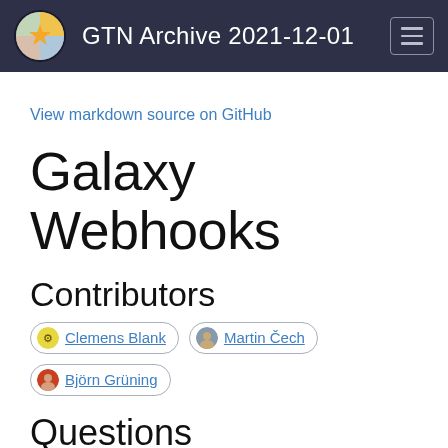GTN Archive 2021-12-01
View markdown source on GitHub
Galaxy Webhooks
Contributors
Clemens Blank   Martin Čech   Björn Grüning
Questions
What are Galaxy Webhooks?
How to create them?